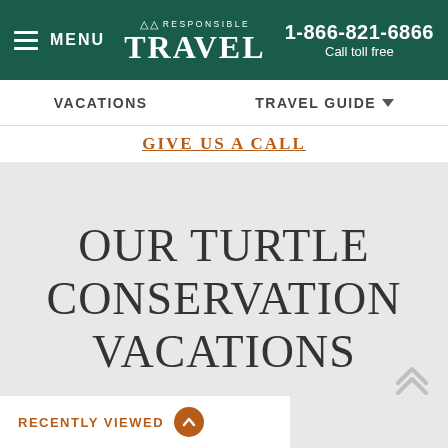MENU | Responsible Travel | 1-866-821-6866 Call toll free
VACATIONS
TRAVEL GUIDE
GIVE US A CALL
OUR TURTLE CONSERVATION VACATIONS
RECENTLY VIEWED